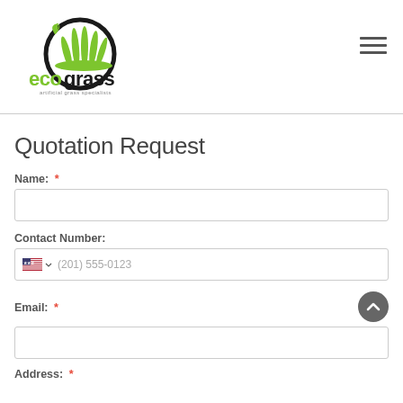[Figure (logo): Ecograss logo with circular grass illustration and text 'ecograss artificial grass specialists']
Quotation Request
Name: *
Contact Number:
Email: *
Address: *